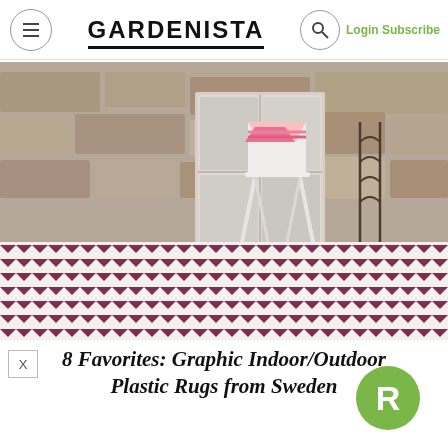GARDENISTA | Login Subscribe
[Figure (photo): Outdoor/indoor patterned plastic rug with burgundy and white zigzag/stripe pattern, with a white folding chair and metal plant stand on top, against a stone wall background]
8 Favorites: Graphic Indoor/Outdoor Plastic Rugs from Sweden